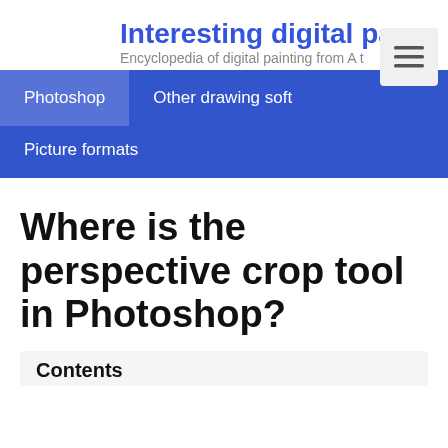Interesting digital pa
Encyclopedia of digital painting from A t
[Figure (other): Hamburger menu icon button]
Photoshop   Other drawing soft
Picture formats
Where is the perspective crop tool in Photoshop?
Contents